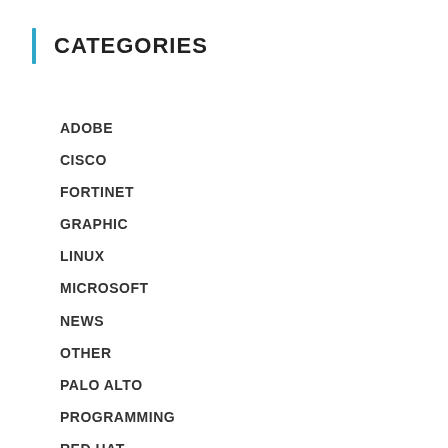CATEGORIES
ADOBE
CISCO
FORTINET
GRAPHIC
LINUX
MICROSOFT
NEWS
OTHER
PALO ALTO
PROGRAMMING
RED HAT
SECURITY
UDEMY